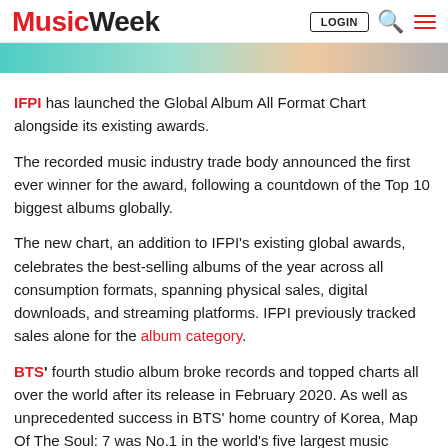Music Week | LOGIN
[Figure (photo): Banner strip with teal and peach gradient colors]
IFPI has launched the Global Album All Format Chart alongside its existing awards.
The recorded music industry trade body announced the first ever winner for the award, following a countdown of the Top 10 biggest albums globally.
The new chart, an addition to IFPI's existing global awards, celebrates the best-selling albums of the year across all consumption formats, spanning physical sales, digital downloads, and streaming platforms. IFPI previously tracked sales alone for the album category.
BTS' fourth studio album broke records and topped charts all over the world after its release in February 2020. As well as unprecedented success in BTS' home country of Korea, Map Of The Soul: 7 was No.1 in the world's five largest music markets (USA,